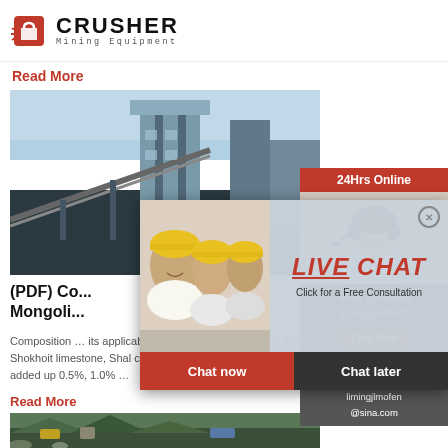CRUSHER Mining Equipment
Read More
[Figure (photo): Industrial mining/cement plant facility with conveyor belt and large structures]
(PDF) Co... Mongoli...
Composition... its applicability for cement production ... that co... Shokhoit limestone, Shal clay and Kharganat iro... added up 0.5%, 1.0% ...
Read More
[Figure (photo): Outdoor mining/crushing equipment setup in a mountainous area]
[Figure (infographic): Live Chat popup overlay with workers in yellow hard hats, LIVE CHAT heading in red italic, Chat now and Chat later buttons]
[Figure (photo): Right sidebar: 24Hrs Online header, customer service representative with headset, Need questions & suggestion, Chat Now button, Enquiry, limingjlmofen@sina.com]